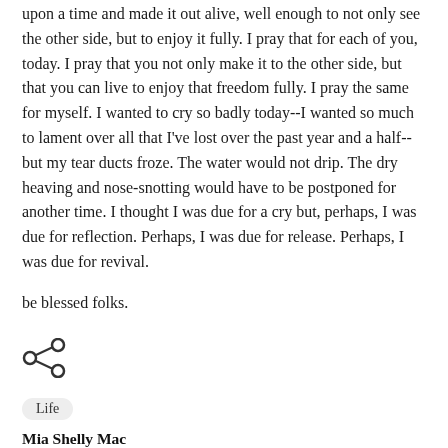upon a time and made it out alive, well enough to not only see the other side, but to enjoy it fully. I pray that for each of you, today. I pray that you not only make it to the other side, but that you can live to enjoy that freedom fully. I pray the same for myself. I wanted to cry so badly today--I wanted so much to lament over all that I've lost over the past year and a half--but my tear ducts froze. The water would not drip. The dry heaving and nose-snotting would have to be postponed for another time. I thought I was due for a cry but, perhaps, I was due for reflection. Perhaps, I was due for release. Perhaps, I was due for revival.
be blessed folks.
[Figure (other): Share icon (three connected circles arranged as a sharing/network symbol)]
Life
Mia Shelly Mac
Mia is a storyteller, songwriter, pastor, and musical theatre nerd.